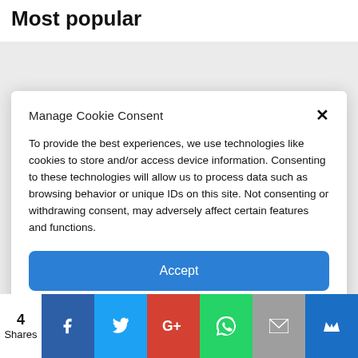Most popular
Manage Cookie Consent
To provide the best experiences, we use technologies like cookies to store and/or access device information. Consenting to these technologies will allow us to process data such as browsing behavior or unique IDs on this site. Not consenting or withdrawing consent, may adversely affect certain features and functions.
Accept
Deny
View preferences
Cookie Policy  Privacy policy
4
Shares